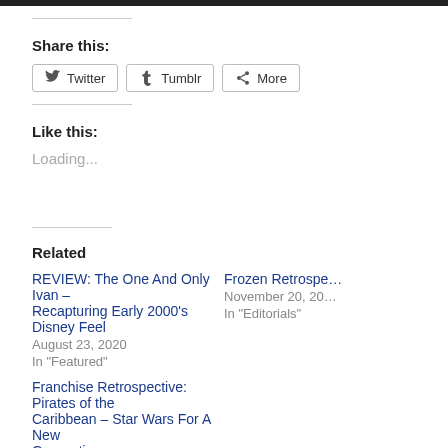Share this:
Twitter
Tumblr
More
Like this:
Loading...
Related
REVIEW: The One And Only Ivan – Recapturing Early 2000's Disney Feel
August 23, 2020
In "Featured"
Frozen Retrospe...
November 20, 20...
In "Editorials"
Franchise Retrospective: Pirates of the Caribbean – Star Wars For A New Generation
March 19, 2020
In "Editorials"